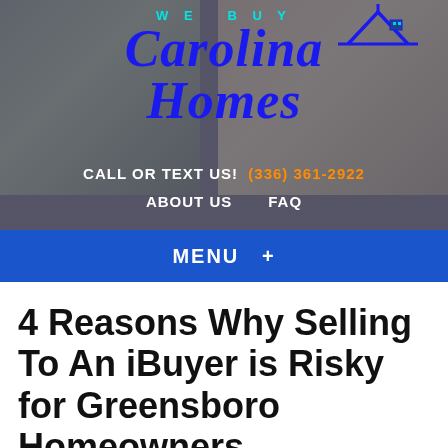[Figure (screenshot): Website header for We Buy Carolina Homes showing a residential home photograph background with the company logo in blue italic script, navigation links including CALL OR TEXT US! (336) 361-2922, ABOUT US, and FAQ]
MENU +
4 Reasons Why Selling To An iBuyer is Risky for Greensboro Homeowners